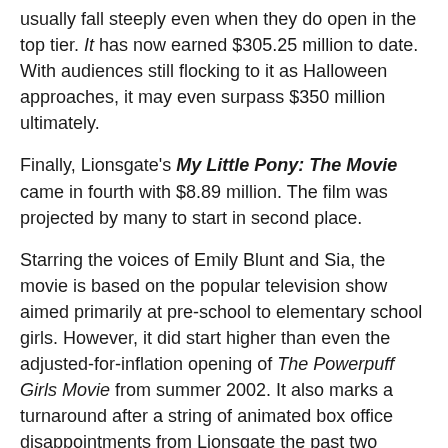usually fall steeply even when they do open in the top tier. It has now earned $305.25 million to date. With audiences still flocking to it as Halloween approaches, it may even surpass $350 million ultimately.
Finally, Lionsgate's My Little Pony: The Movie came in fourth with $8.89 million. The film was projected by many to start in second place.
Starring the voices of Emily Blunt and Sia, the movie is based on the popular television show aimed primarily at pre-school to elementary school girls. However, it did start higher than even the adjusted-for-inflation opening of The Powerpuff Girls Movie from summer 2002. It also marks a turnaround after a string of animated box office disappointments from Lionsgate the past two years, including Rock Dog, The Wild Life and Norm of the North.
The top 10 films earned $94.22 million last weekend, 18.5 percent above the previous weekend's $79.48 million. It is also 0.1 percent above the same weekend last year, when The Girl on the Train led with $24.54 million.